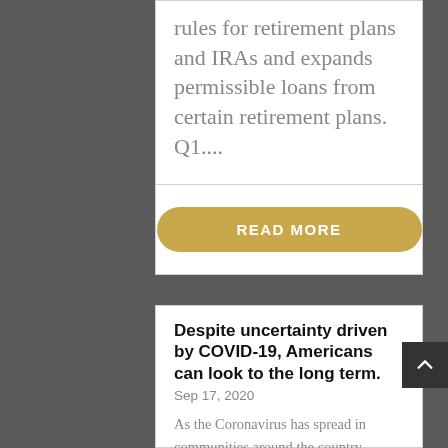rules for retirement plans and IRAs and expands permissible loans from certain retirement plans. Q1....
[Figure (other): A gold/yellow rounded pill-shaped button with white bold uppercase text reading 'READ MORE']
Despite uncertainty driven by COVID-19, Americans can look to the long term.
Sep 17, 2020
As the Coronavirus has spread in communities around the country, Americans are becoming increasingly concerned about the impact of the virus on jobs, the